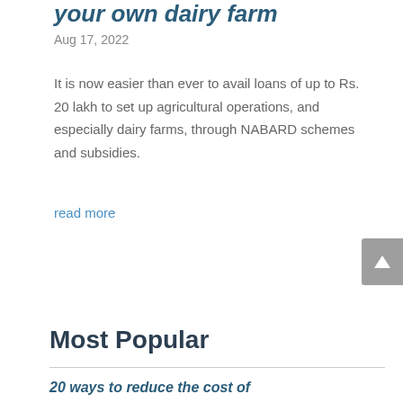your own dairy farm
Aug 17, 2022
It is now easier than ever to avail loans of up to Rs. 20 lakh to set up agricultural operations, and especially dairy farms, through NABARD schemes and subsidies.
read more
Most Popular
20 ways ...